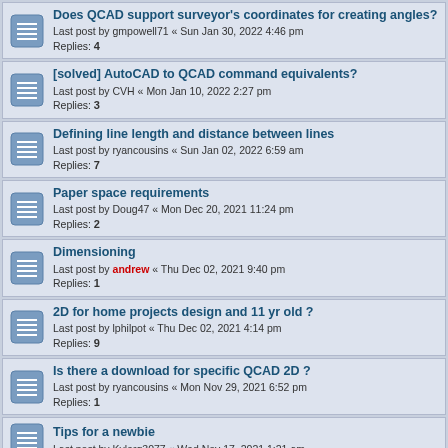Does QCAD support surveyor's coordinates for creating angles?
Last post by gmpowell71 « Sun Jan 30, 2022 4:46 pm
Replies: 4
[solved] AutoCAD to QCAD command equivalents?
Last post by CVH « Mon Jan 10, 2022 2:27 pm
Replies: 3
Defining line length and distance between lines
Last post by ryancousins « Sun Jan 02, 2022 6:59 am
Replies: 7
Paper space requirements
Last post by Doug47 « Mon Dec 20, 2021 11:24 pm
Replies: 2
Dimensioning
Last post by andrew « Thu Dec 02, 2021 9:40 pm
Replies: 1
2D for home projects design and 11 yr old ?
Last post by lphilpot « Thu Dec 02, 2021 4:14 pm
Replies: 9
Is there a download for specific QCAD 2D ?
Last post by ryancousins « Mon Nov 29, 2021 6:52 pm
Replies: 1
Tips for a newbie
Last post by Kylerg3077 « Wed Nov 17, 2021 1:21 am
E-book correspond to what version of QCad prof
Last post by andrew « Thu Nov 11, 2021 5:17 pm
Replies: 1